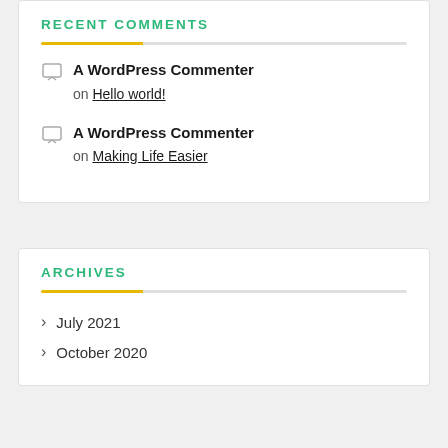RECENT COMMENTS
A WordPress Commenter on Hello world!
A WordPress Commenter on Making Life Easier
ARCHIVES
July 2021
October 2020